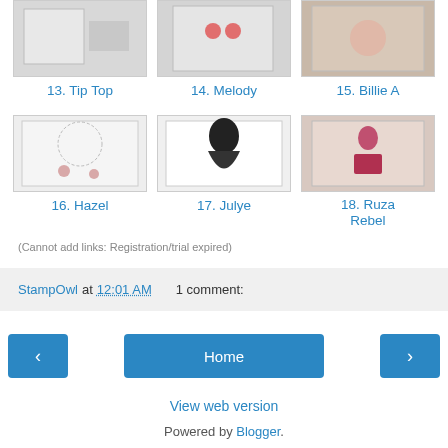[Figure (photo): Thumbnail image for entry 13, Tip Top]
13. Tip Top
[Figure (photo): Thumbnail image for entry 14, Melody]
14. Melody
[Figure (photo): Thumbnail image for entry 15, Billie A]
15. Billie A
[Figure (photo): Thumbnail image for entry 16, Hazel]
16. Hazel
[Figure (photo): Thumbnail image for entry 17, Julye]
17. Julye
[Figure (photo): Thumbnail image for entry 18, Ruza Rebel]
18. Ruza Rebel
(Cannot add links: Registration/trial expired)
StampOwl at 12:01 AM   1 comment:
Home
View web version
Powered by Blogger.